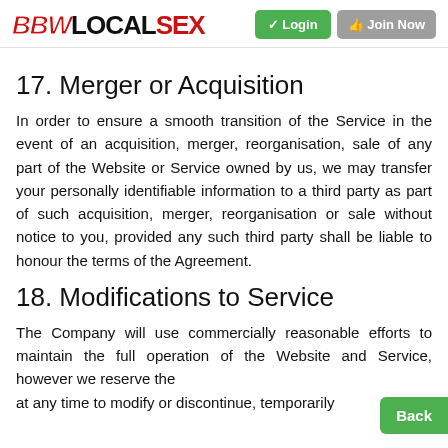BBW LOCAL SEX   ✓ Login   🖐 Join Now
17. Merger or Acquisition
In order to ensure a smooth transition of the Service in the event of an acquisition, merger, reorganisation, sale of any part of the Website or Service owned by us, we may transfer your personally identifiable information to a third party as part of such acquisition, merger, reorganisation or sale without notice to you, provided any such third party shall be liable to honour the terms of the Agreement.
18. Modifications to Service
The Company will use commercially reasonable efforts to maintain the full operation of the Website and Service, however we reserve the at any time to modify or discontinue, temporarily